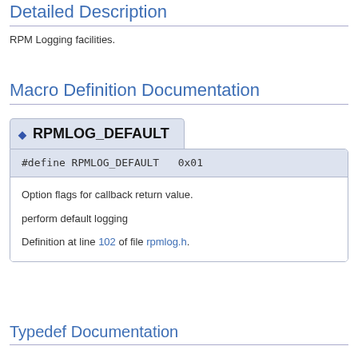Detailed Description
RPM Logging facilities.
Macro Definition Documentation
◆ RPMLOG_DEFAULT
#define RPMLOG_DEFAULT   0x01
Option flags for callback return value.
perform default logging
Definition at line 102 of file rpmlog.h.
Typedef Documentation